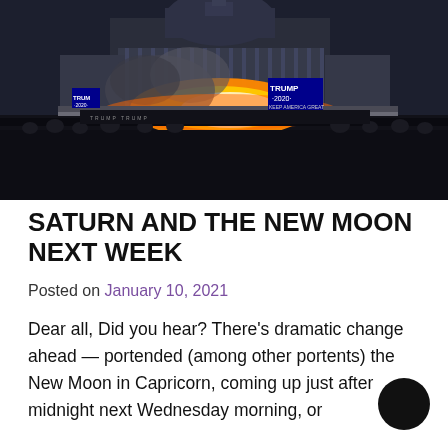[Figure (photo): Photograph of US Capitol building at night with large crowd gathered outside, an explosion of fire and smoke visible in the foreground, people holding Trump 2020 flags and banners. Scene appears to be from January 6, 2021 Capitol riot.]
SATURN AND THE NEW MOON NEXT WEEK
Posted on January 10, 2021
Dear all, Did you hear? There's dramatic change ahead — portended (among other portents) the New Moon in Capricorn, coming up just after midnight next Wednesday morning, or